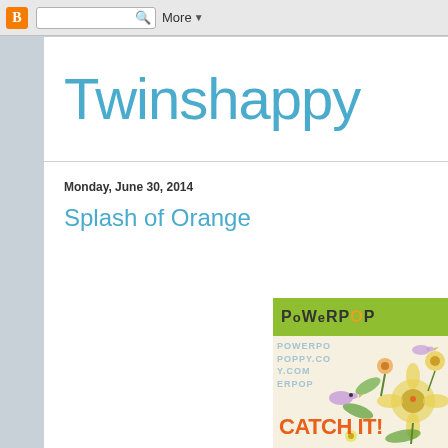Blogger browser chrome bar with search box and More button
Twinshappy
Monday, June 30, 2014
Splash of Orange
[Figure (illustration): PowerPop stamp product advertisement image with green header bar showing 'PoWeRPOP' logo, floral illustration with flowers and birds, 'CATCH IT!' text in orange, and watermark text in the background]